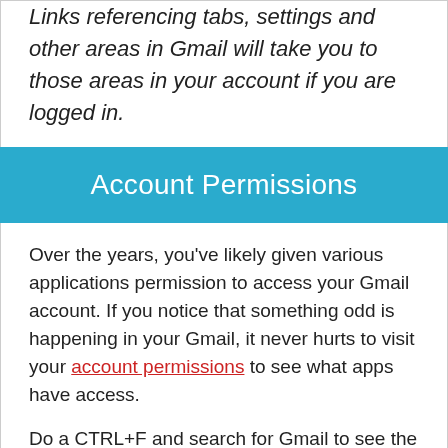Links referencing tabs, settings and other areas in Gmail will take you to those areas in your account if you are logged in.
Account Permissions
Over the years, you've likely given various applications permission to access your Gmail account. If you notice that something odd is happening in your Gmail, it never hurts to visit your account permissions to see what apps have access.
Do a CTRL+F and search for Gmail to see the applications that specifically access Gmail.
You may find an application you used in the past